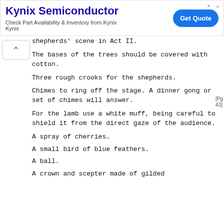[Figure (screenshot): Advertisement banner for Kynix Semiconductor with title, description, and Get Quote button]
shepherds' scene in Act II.
The bases of the trees should be covered with cotton.
Three rough crooks for the shepherds.
Chimes to ring off the stage. A dinner gong or set of chimes will answer.
For the lamb use a white muff, being careful to shield it from the direct gaze of the audience.
A spray of cherries.
A small bird of blue feathers.
A ball.
A crown and scepter made of gilded
[Pg 43]